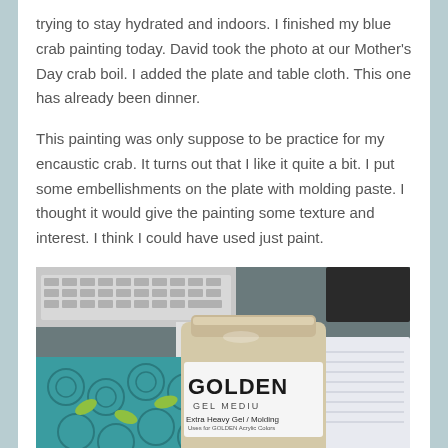trying to stay hydrated and indoors. I finished my blue crab painting today. David took the photo at our Mother's Day crab boil. I added the plate and table cloth. This one has already been dinner.
This painting was only suppose to be practice for my encaustic crab. It turns out that I like it quite a bit. I put some embellishments on the plate with molding paste. I thought it would give the painting some texture and interest. I think I could have used just paint.
[Figure (photo): Photo of a jar of Golden Gel Medium Extra Heavy Gel / Molding paste sitting on a desk with a keyboard, notebook, and teal patterned material in the background.]